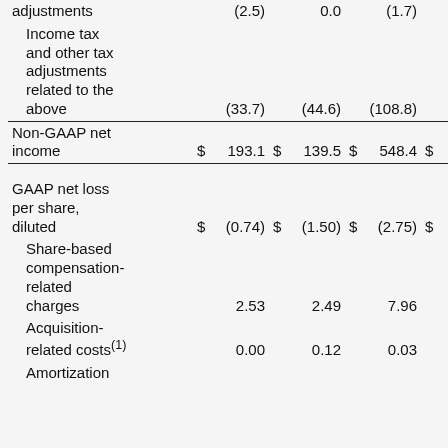|  | $ | $ | $ | $ |
| --- | --- | --- | --- | --- |
| adjustments | (2.5) | 0.0 | (1.7) |  |
| Income tax and other tax adjustments related to the above | (33.7) | (44.6) | (108.8) |  |
| Non-GAAP net income | $ 193.1 | $ 139.5 | $ 548.4 | $ |
| GAAP net loss per share, diluted | $ (0.74) | $ (1.50) | $ (2.75) | $ |
| Share-based compensation-related charges | 2.53 | 2.49 | 7.96 |  |
| Acquisition-related costs(1) | 0.00 | 0.12 | 0.03 |  |
| Amortization |  |  |  |  |